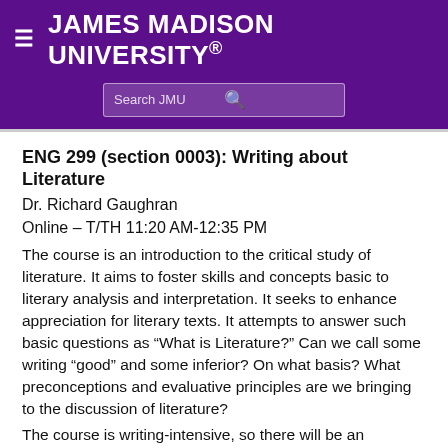JAMES MADISON UNIVERSITY.
ENG 299 (section 0003): Writing about Literature
Dr. Richard Gaughran
Online – T/TH 11:20 AM-12:35 PM
The course is an introduction to the critical study of literature. It aims to foster skills and concepts basic to literary analysis and interpretation. It seeks to enhance appreciation for literary texts. It attempts to answer such basic questions as “What is Literature?” Can we call some writing “good” and some inferior? On what basis? What preconceptions and evaluative principles are we bringing to the discussion of literature?
The course is writing-intensive, so there will be an emphasis on evaluating and discussing literature in writing. The course attempts to instill in students basic standards